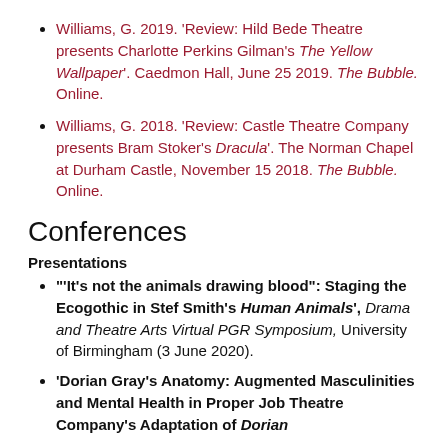Williams, G. 2019. 'Review: Hild Bede Theatre presents Charlotte Perkins Gilman's The Yellow Wallpaper'. Caedmon Hall, June 25 2019. The Bubble. Online.
Williams, G. 2018. 'Review: Castle Theatre Company presents Bram Stoker's Dracula'. The Norman Chapel at Durham Castle, November 15 2018. The Bubble. Online.
Conferences
Presentations
'It's not the animals drawing blood': Staging the Ecogothic in Stef Smith's Human Animals', Drama and Theatre Arts Virtual PGR Symposium, University of Birmingham (3 June 2020).
'Dorian Gray's Anatomy: Augmented Masculinities and Mental Health in Proper Job Theatre Company's Adaptation of Dorian